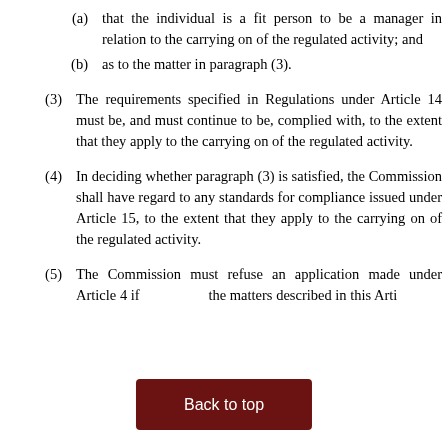(a) that the individual is a fit person to be a manager in relation to the carrying on of the regulated activity; and
(b) as to the matter in paragraph (3).
(3) The requirements specified in Regulations under Article 14 must be, and must continue to be, complied with, to the extent that they apply to the carrying on of the regulated activity.
(4) In deciding whether paragraph (3) is satisfied, the Commission shall have regard to any standards for compliance issued under Article 15, to the extent that they apply to the carrying on of the regulated activity.
(5) The Commission must refuse an application made under Article 4 if [obscured] the matters described in this Arti[cle...]
Back to top